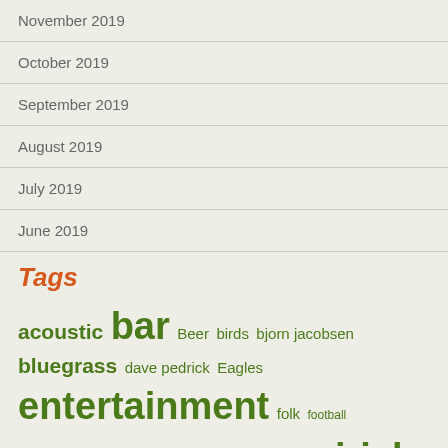November 2019
October 2019
September 2019
August 2019
July 2019
June 2019
Tags
acoustic bar Beer birds bjorn jacobsen bluegrass dave pedrick Eagles entertainment folk football Guinness Halloween irish music irish pub jam session jazz jazz on king jordan rast Lancaster lancaster city lancaster pa live music live show matt hostetter music music venue night life philadelphia philly pub public records public records tellus360